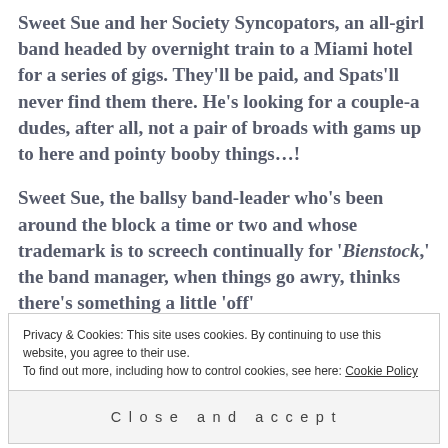Sweet Sue and her Society Syncopators, an all-girl band headed by overnight train to a Miami hotel for a series of gigs. They'll be paid, and Spats'll never find them there. He's looking for a couple-a dudes, after all, not a pair of broads with gams up to here and pointy booby things…!
Sweet Sue, the ballsy band-leader who's been around the block a time or two and whose trademark is to screech continually for 'Bienstock,' the band manager, when things go awry, thinks there's something a little 'off'
Privacy & Cookies: This site uses cookies. By continuing to use this website, you agree to their use.
To find out more, including how to control cookies, see here: Cookie Policy
Close and accept